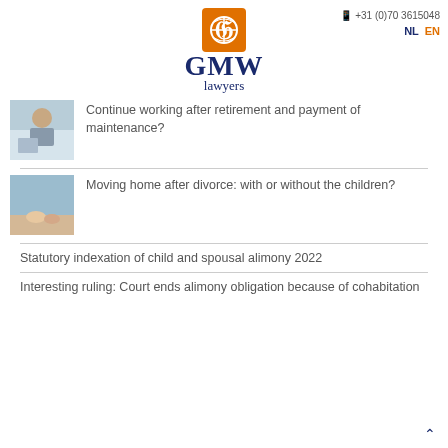[Figure (logo): GMW lawyers logo with orange square icon and navy blue GMW lawyers text]
+31 (0)70 3615048  NL  EN
[Figure (photo): Elderly person at desk, appearing concerned]
Continue working after retirement and payment of maintenance?
[Figure (photo): Two hands reaching towards each other on beach]
Moving home after divorce: with or without the children?
Statutory indexation of child and spousal alimony 2022
Interesting ruling: Court ends alimony obligation because of cohabitation